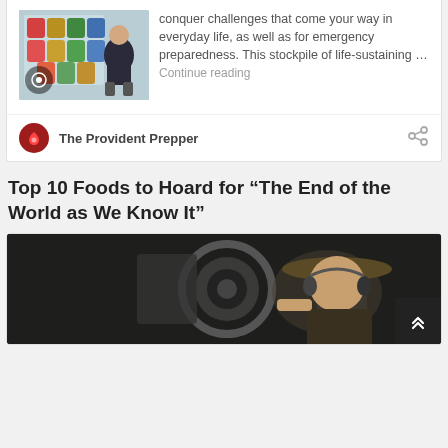[Figure (photo): Man sitting cross-legged in front of stacked canned food with watermark logo]
conquer challenges that come your way in everyday life, as well as for emergency preparedness. This stockpile of life-sustaining … Continue reading
The Provident Prepper
Top 10 Foods to Hoard for “The End of the World as We Know It”
[Figure (photo): Man wearing a wide-brim hat looking into a camera lens or machine]